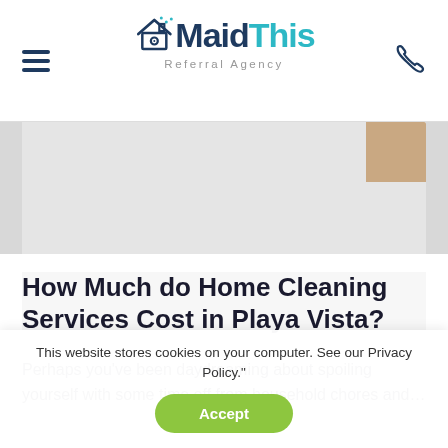MaidThis Referral Agency — navigation header with hamburger menu and phone icon
[Figure (photo): Partial image strip showing a light gray/white background with a tan/brown corner element at the top right, representing a cropped hero image]
How Much do Home Cleaning Services Cost in Playa Vista?
Perhaps you've been daydreaming about spoiling yourself with some time off from household chores and…
This website stores cookies on your computer. See our Privacy Policy."